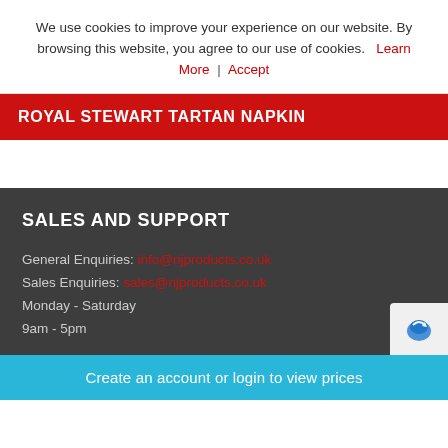We use cookies to improve your experience on our website. By browsing this website, you agree to our use of cookies. Learn More | Accept
ROYAL STEWART TARTAN NAPKIN
SALES AND SUPPORT
General Enquiries: info@njproducts.co.uk
Sales Enquiries: sales@njproducts.co.uk
Monday - Saturday
9am - 5pm
Create an account or login to view prices